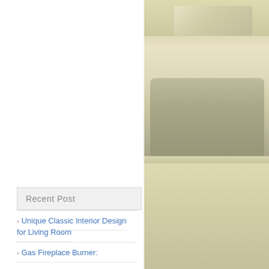[Figure (photo): Interior photo of a white painted cabinet/hutch with shelves displaying decorative plates, a wire basket, and towels. The cabinet has mesh-front lower doors. Colors are cream and off-white with muted tones.]
Recent Post
Unique Classic Interior Design for Living Room
Gas Fireplace Burner: